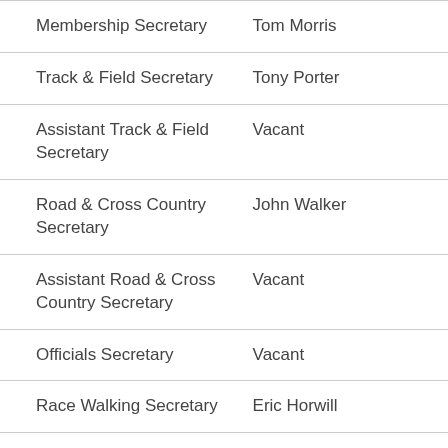| Role | Name |
| --- | --- |
| Membership Secretary | Tom Morris |
| Track & Field Secretary | Tony Porter |
| Assistant Track & Field Secretary | Vacant |
| Road & Cross Country Secretary | John Walker |
| Assistant Road & Cross Country Secretary | Vacant |
| Officials Secretary | Vacant |
| Race Walking Secretary | Eric Horwill |